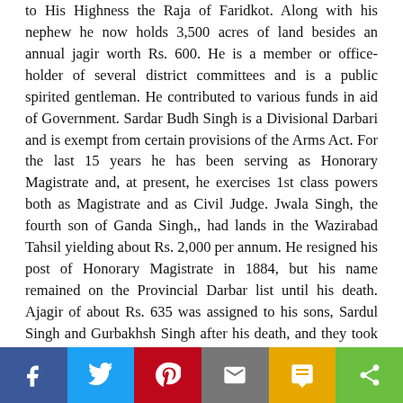to His Highness the Raja of Faridkot. Along with his nephew he now holds 3,500 acres of land besides an annual jagir worth Rs. 600. He is a member or office-holder of several district committees and is a public spirited gentleman. He contributed to various funds in aid of Government. Sardar Budh Singh is a Divisional Darbari and is exempt from certain provisions of the Arms Act. For the last 15 years he has been serving as Honorary Magistrate and, at present, he exercises 1st class powers both as Magistrate and as Civil Judge. Jwala Singh, the fourth son of Ganda Singh,, had lands in the Wazirabad Tahsil yielding about Rs. 2,000 per annum. He resigned his post of Honorary Magistrate in 1884, but his name remained on the Provincial Darbar list until his death. Ajagir of about Rs. 635 was assigned to his sons, Sardul Singh and Gurbakhsh Singh after his death, and they took up their abode at Wazirabad. Gurbakhsh Singh
[Figure (infographic): Social media sharing bar with buttons for Facebook, Twitter, Pinterest, Email, SMS, and Share]